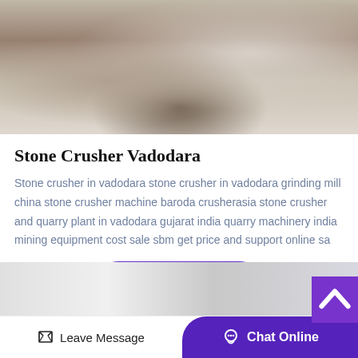[Figure (photo): Aerial or close-up photograph of a stone crushing quarry site showing crushed white/grey stone and brown soil/rock material.]
Stone Crusher Vadodara
Stone crusher in vadodara stone crusher in vadodara grinding mill china stone crusher machine baroda crusherasia stone crusher and quarry plant in vadodara gujarat india quarry machinery india mining equipment cost sale sbm get price and support online sa
[Figure (screenshot): Get Price button - purple rounded rectangle button with white bold text.]
[Figure (photo): Partial bottom image showing a building or industrial facility exterior.]
Leave Message   Chat Online